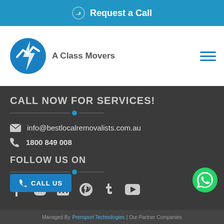Request a Call
[Figure (logo): A Class Movers logo with blue circular icon and text]
CALL NOW FOR SERVICES!
info@bestlocalremovalists.com.au
1800 849 008
FOLLOW US ON
[Figure (infographic): Social media icons: Facebook, Instagram, LinkedIn, Pinterest, Tumblr, YouTube]
CALL US
Managed By Prensport Technologies | Our Partner Companies